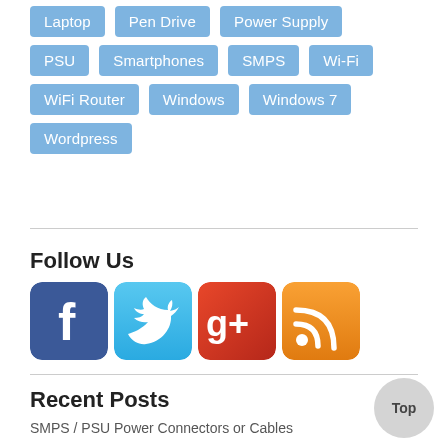Laptop
Pen Drive
Power Supply
PSU
Smartphones
SMPS
Wi-Fi
WiFi Router
Windows
Windows 7
Wordpress
Follow Us
[Figure (infographic): Social media icons: Facebook (blue with f logo), Twitter (light blue with bird logo), Google+ (red/dark red with g+ logo), RSS feed (orange with wifi/rss symbol)]
Recent Posts
SMPS / PSU Power Connectors or Cables